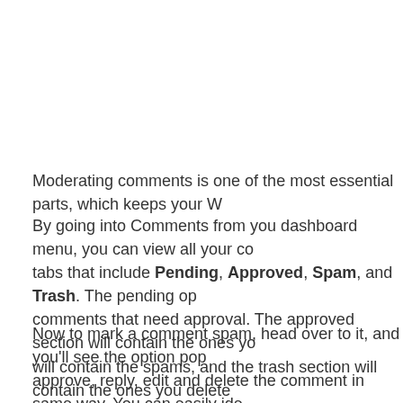Moderating comments is one of the most essential parts, which keeps your W...
By going into Comments from you dashboard menu, you can view all your co... tabs that include Pending, Approved, Spam, and Trash. The pending op... comments that need approval. The approved section will contain the ones yo... will contain the spams, and the trash section will contain the ones you delete...
Now to mark a comment spam, head over to it, and you'll see the option pop... approve, reply, edit and delete the comment in same way. You can easily ide... observing it a bit. Look for contents of the comment. They usually contain stra... links and such. Most of the time, they also contain a fake name like The Best... Cheapest Monitors. If you want to filter out generic comments like Awesome...
WordPress usually comes with Akismet pre-installed. You'll need to activate... anti-spam service in order to use it. Akismet will recognize the spam comme...